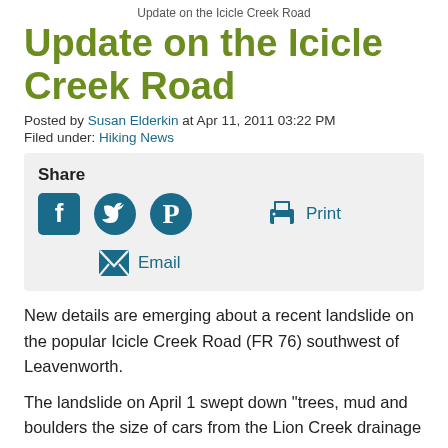Update on the Icicle Creek Road
Update on the Icicle Creek Road
Posted by Susan Elderkin at Apr 11, 2011 03:22 PM
Filed under: Hiking News
[Figure (infographic): Share box with social media icons (Facebook, Twitter, Pinterest), Print button with printer icon, and Email button with envelope icon]
New details are emerging about a recent landslide on the popular Icicle Creek Road (FR 76) southwest of Leavenworth.
The landslide on April 1 swept down "trees, mud and boulders the size of cars from the Lion Creek drainage